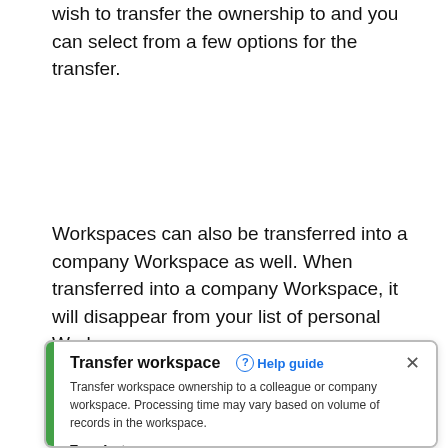wish to transfer the ownership to and you can select from a few options for the transfer.
Workspaces can also be transferred into a company Workspace as well. When transferred into a company Workspace, it will disappear from your list of personal Workspaces.
[Figure (screenshot): Transfer workspace dialog. Title: Transfer workspace with Help guide link and X close button. Description text: Transfer workspace ownership to a colleague or company workspace. Processing time may vary based on volume of records in the workspace. Transfer to options: Other members of the company (unselected radio), Company workspace (selected radio, blue). Text at bottom: Include the following information in transfer:]